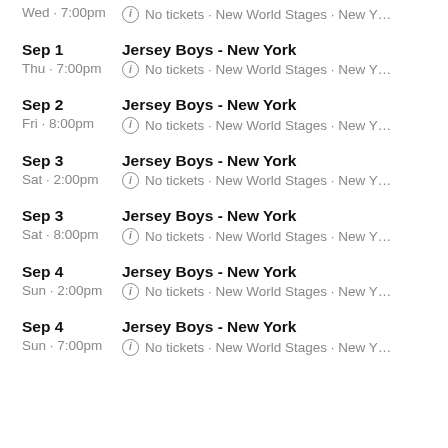Wed · 7:00pm  ⓘ No tickets · New World Stages · New Y…
Sep 1
Jersey Boys - New York
Thu · 7:00pm  ⓘ No tickets · New World Stages · New Y…
Sep 2
Jersey Boys - New York
Fri · 8:00pm  ⓘ No tickets · New World Stages · New Y…
Sep 3
Jersey Boys - New York
Sat · 2:00pm  ⓘ No tickets · New World Stages · New Y…
Sep 3
Jersey Boys - New York
Sat · 8:00pm  ⓘ No tickets · New World Stages · New Y…
Sep 4
Jersey Boys - New York
Sun · 2:00pm  ⓘ No tickets · New World Stages · New Y…
Sep 4
Jersey Boys - New York
Sun · 7:00pm  ⓘ No tickets · New World Stages · New Y…